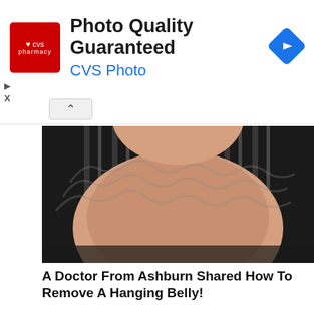[Figure (advertisement): CVS Pharmacy ad banner with red CVS logo, text 'Photo Quality Guaranteed' in black bold and 'CVS Photo' in blue, blue diamond arrow icon on right]
[Figure (photo): Close-up photo of a person's midsection showing a large belly, wearing a black and white striped shirt, head partially visible at top]
A Doctor From Ashburn Shared How To Remove A Hanging Belly!
Keto
[Figure (photo): Before and after weight loss photos side by side: left shows a larger woman with curly blonde hair wearing a white and blue strapless dress with blue roses; right shows a slimmer dark-haired woman wearing the same style dress]